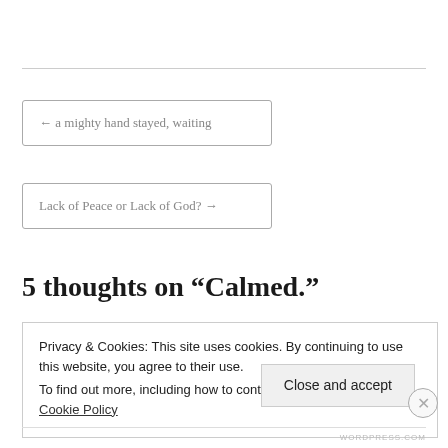← a mighty hand stayed, waiting
Lack of Peace or Lack of God? →
5 thoughts on “Calmed.”
Privacy & Cookies: This site uses cookies. By continuing to use this website, you agree to their use.
To find out more, including how to control cookies, see here: Cookie Policy
Close and accept